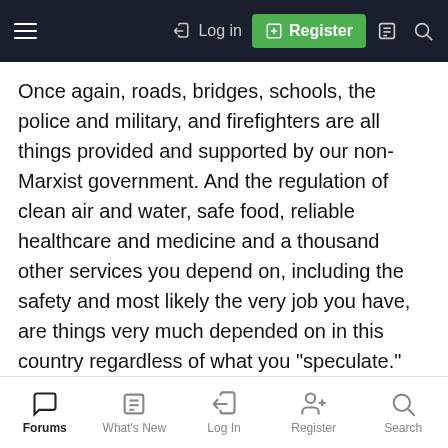Log in | Register
Once again, roads, bridges, schools, the police and military, and firefighters are all things provided and supported by our non-Marxist government. And the regulation of clean air and water, safe food, reliable healthcare and medicine and a thousand other services you depend on, including the safety and most likely the very job you have, are things very much depended on in this country regardless of what you "speculate."
BTW, when I suggested you "keep it up" with your illiterate squirming, it was rhetorical, not a challenge.
Forums | What's New | Log In | Register | Search